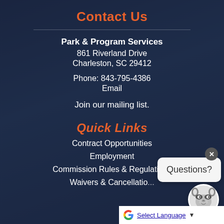Contact Us
Park & Program Services
861 Riverland Drive
Charleston, SC 29412

Phone: 843-795-4386
Email
Join our mailing list.
Quick Links
Contract Opportunities
Employment
Commission Rules & Regulations
Waivers & Cancellatio...